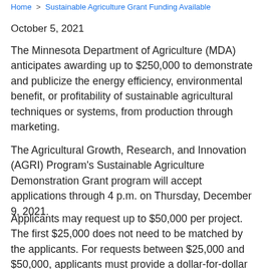Home > Sustainable Agriculture Grant Funding Available
October 5, 2021
The Minnesota Department of Agriculture (MDA) anticipates awarding up to $250,000 to demonstrate and publicize the energy efficiency, environmental benefit, or profitability of sustainable agricultural techniques or systems, from production through marketing.
The Agricultural Growth, Research, and Innovation (AGRI) Program's Sustainable Agriculture Demonstration Grant program will accept applications through 4 p.m. on Thursday, December 9, 2021.
Applicants may request up to $50,000 per project. The first $25,000 does not need to be matched by the applicants. For requests between $25,000 and $50,000, applicants must provide a dollar-for-dollar match on